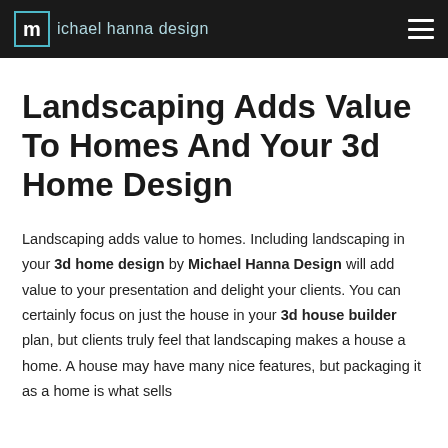michael hanna design
Landscaping Adds Value To Homes And Your 3d Home Design
Landscaping adds value to homes. Including landscaping in your 3d home design by Michael Hanna Design will add value to your presentation and delight your clients. You can certainly focus on just the house in your 3d house builder plan, but clients truly feel that landscaping makes a house a home. A house may have many nice features, but packaging it as a home is what sells